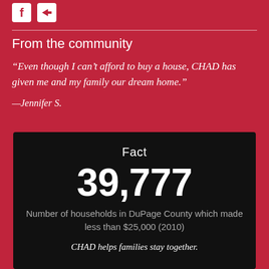[Figure (logo): Social media icons: Facebook and Twitter/arrow logos in white on crimson background]
From the community
“Even though I can’t afford to buy a house, CHAD has given me and my family our dream home.”
—Jennifer S.
Fact
39,777
Number of households in DuPage County which made less than $25,000 (2010)
CHAD helps families stay together.